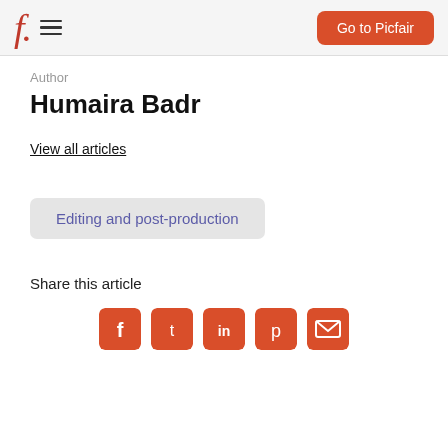f. [hamburger menu] Go to Picfair
Author
Humaira Badr
View all articles
Editing and post-production
Share this article
[Figure (infographic): Social share icons: Facebook, Twitter, LinkedIn, Pinterest, Email — all in orange/red rounded square buttons]